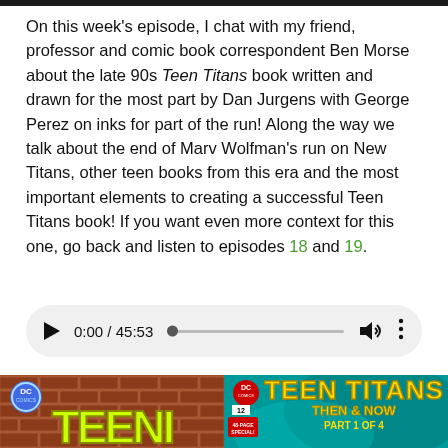On this week's episode, I chat with my friend, professor and comic book correspondent Ben Morse about the late 90s Teen Titans book written and drawn for the most part by Dan Jurgens with George Perez on inks for part of the run! Along the way we talk about the end of Marv Wolfman's run on New Titans, other teen books from this era and the most important elements to creating a successful Teen Titans book! If you want even more context for this one, go back and listen to episodes 18 and 19.
[Figure (screenshot): Audio player widget showing 0:00 / 45:53 with play button, progress bar, volume icon, and more options icon]
[Figure (photo): Comic book cover with brick wall background showing 'TEENI' text in yellow-green graffiti style with DC logo badge]
[Figure (photo): Teen Titans comic book cover issue 12, 48-page special, 'Then & Now Part 1 of 4' with DC logo, teal background]